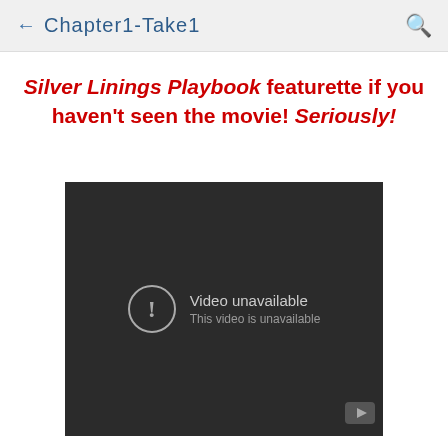← Chapter1-Take1
Silver Linings Playbook featurette if you haven't seen the movie! Seriously!
[Figure (screenshot): Embedded YouTube video player showing 'Video unavailable - This video is unavailable' error message on dark background with YouTube icon in bottom right corner.]